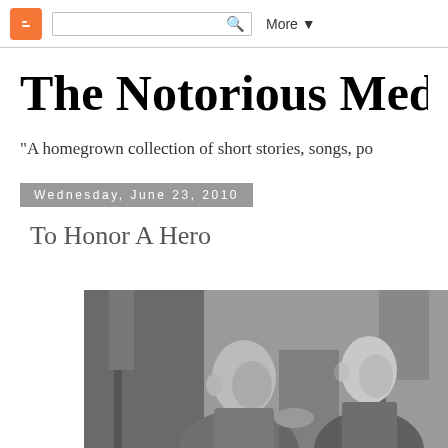Blogger navigation bar with search box and More button
The Notorious Meddler
"A homegrown collection of short stories, songs, po..."
Wednesday, June 23, 2010
To Honor A Hero
[Figure (photo): Black and white photograph of two military men, one older bald man facing right pinning or presenting something to a younger man in military uniform, with flags in the background.]